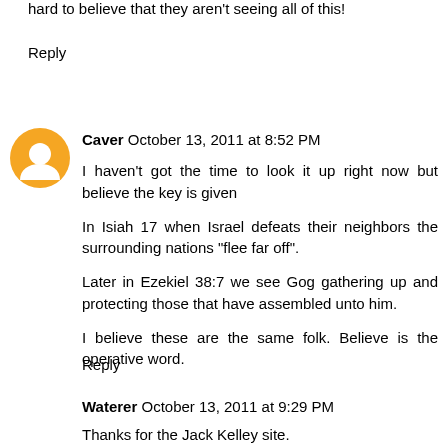hard to believe that they aren't seeing all of this!
Reply
Caver  October 13, 2011 at 8:52 PM
I haven't got the time to look it up right now but believe the key is given
In Isiah 17 when Israel defeats their neighbors the surrounding nations "flee far off".
Later in Ezekiel 38:7 we see Gog gathering up and protecting those that have assembled unto him.
I believe these are the same folk. Believe is the operative word.
Reply
Waterer  October 13, 2011 at 9:29 PM
Thanks for the Jack Kelley site.